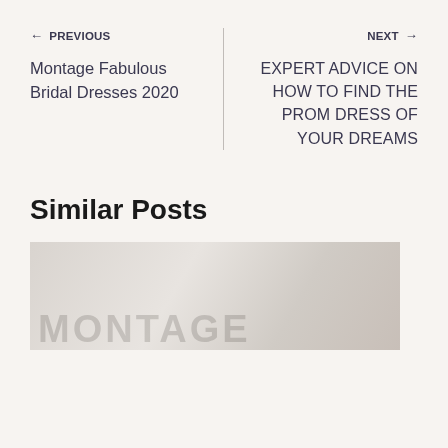← PREVIOUS | NEXT →
Montage Fabulous Bridal Dresses 2020
EXPERT ADVICE ON HOW TO FIND THE PROM DRESS OF YOUR DREAMS
Similar Posts
[Figure (photo): Card image showing a bridal/fashion photo with MONTAGE text overlay, partially visible at bottom of page]